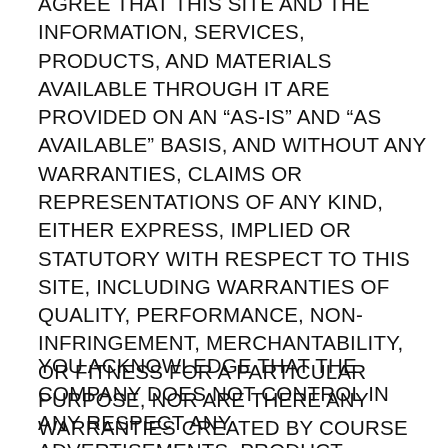AGREE THAT THIS SITE AND THE INFORMATION, SERVICES, PRODUCTS, AND MATERIALS AVAILABLE THROUGH IT ARE PROVIDED ON AN “AS-IS” AND “AS AVAILABLE” BASIS, AND WITHOUT ANY WARRANTIES, CLAIMS OR REPRESENTATIONS OF ANY KIND, EITHER EXPRESS, IMPLIED OR STATUTORY WITH RESPECT TO THIS SITE, INCLUDING WARRANTIES OF QUALITY, PERFORMANCE, NON-INFRINGEMENT, MERCHANTABILITY, OR FITNESS FOR A PARTICULAR PURPOSE, NOR ARE THERE ANY WARRANTIES CREATED BY COURSE OF DEALING, COURSE OF PERFORMANCE OR TRADE USAGE.
YOU ACKNOWLEDGE THAT THE COMPANY DOES NOT CONTROL IN ANY RESPECT ANY ADVERTISEMENTS, PRODUCT DESCRIPTIONS, PRODUCTS, OR CONTENT OFFERED BY THIRD